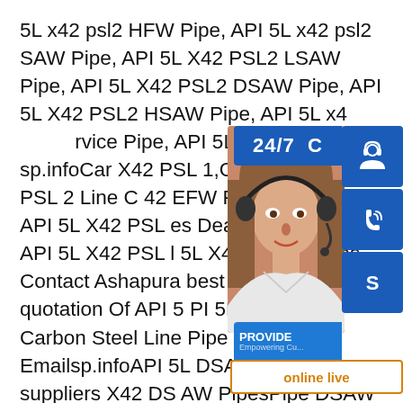5L x42 psl2 HFW Pipe, API 5L x42 psl2 SAW Pipe, API 5L X42 PSL2 LSAW Pipe, API 5L X42 PSL2 DSAW Pipe, API 5L X42 PSL2 HSAW Pipe, API 5L x42 PSL2 rvice Pipe, API 5L X42 PSL2 sp.infoCar X42 PSL 1,CS API 5L X42 PSL 2 Line C 42 EFW Pipes Suppliers API 5L X42 PSL es Dealer Carbon Steel API 5L X42 PSL l 5L X42 PSL 2 Pipes Contact Ashapura best offer competitive quotation Of API 5 PI 5L X42 PSL 2 Carbon Steel Line Pipe 06141 Emailsp.infoAPI 5L DSAW Pipe suppliers X42 DSAW PipesPipe DSAW APIAPI 5L DSAW Pipe Ready Stock Available with supplementary tests/ HIC Test.Largest inventory of API 5L X42 SSAW,API 5L X42 LSAW,API 5L X42 API 5L X42 ERW,API 5L X42 SMLS steel pipes and c ontinue this with stock of GR.ASTM,API 5L,DIN,JIS
[Figure (infographic): Customer service widget overlay with a woman wearing a headset, 24/7 text banner, headphone icon, phone icon, Skype icon, PROVIDE Empowering Customers banner, and online live button]